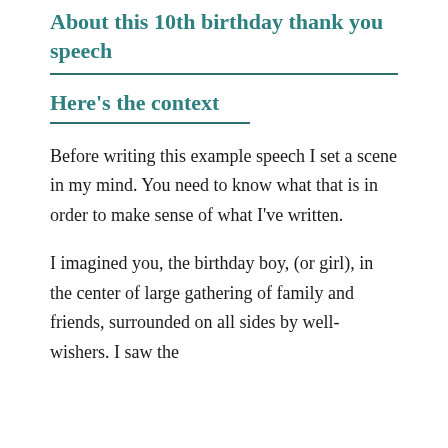About this 10th birthday thank you speech
Here's the context
Before writing this example speech I set a scene in my mind. You need to know what that is in order to make sense of what I've written.
I imagined you, the birthday boy, (or girl), in the center of large gathering of family and friends, surrounded on all sides by well-wishers. I saw the